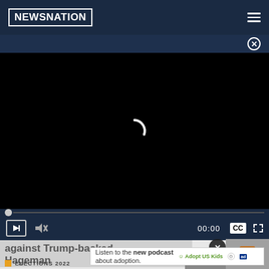NEWSNATION
[Figure (screenshot): Video player with black screen, loading spinner, progress bar at 0:00, controls including play, mute, CC, and fullscreen buttons]
against Trump-backed Hageman
Listen to the new podcast about adoption.
ELECTIONS 2022